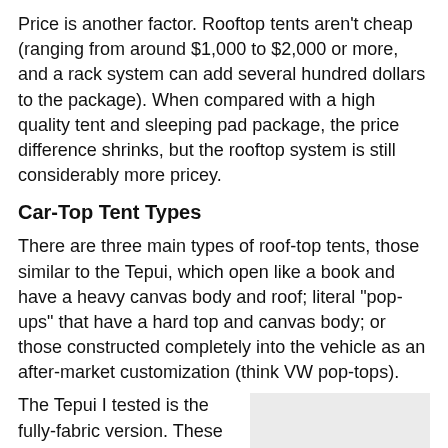Price is another factor. Rooftop tents aren't cheap (ranging from around $1,000 to $2,000 or more, and a rack system can add several hundred dollars to the package). When compared with a high quality tent and sleeping pad package, the price difference shrinks, but the rooftop system is still considerably more pricey.
Car-Top Tent Types
There are three main types of roof-top tents, those similar to the Tepui, which open like a book and have a heavy canvas body and roof; literal “pop-ups” that have a hard top and canvas body; or those constructed completely into the vehicle as an after-market customization (think VW pop-tops).
The Tepui I tested is the fully-fabric version. These can be set up to fold to the side, or to the back, depending on the type of vehicle and configuration desired. A bonus to me using the full-canvas Tepui
[Figure (photo): A light gray placeholder image box on the right side, representing a photo of a rooftop tent.]